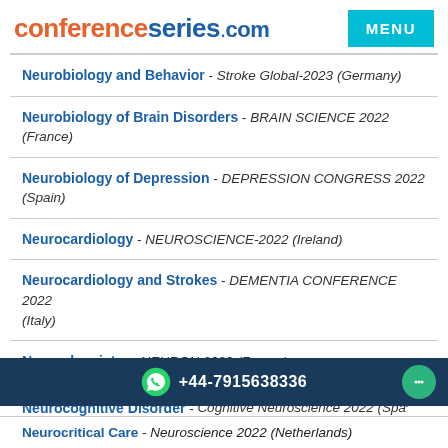conferenceseries.com
Neurobiology and Behavior - Stroke Global-2023 (Germany)
Neurobiology of Brain Disorders - BRAIN SCIENCE 2022 (France)
Neurobiology of Depression - DEPRESSION CONGRESS 2022 (Spain)
Neurocardiology - NEUROSCIENCE-2022 (Ireland)
Neurocardiology and Strokes - DEMENTIA CONFERENCE 2022 (Italy)
Neurochemistry - NEURON 2022 (France)
Neurocognitive Disorder - Cognitive Neuroscience 2022 (Spain)
+44-7915638336
Neurocritical Care - Neuroscience 2022 (Netherlands)